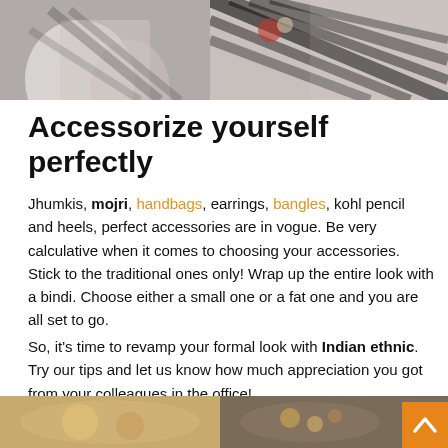[Figure (photo): Two photos at the top: left shows a white/black fabric garment on gray background; right shows black and white zebra-print fabric with floral detail]
Accessorize yourself perfectly
Jhumkis, mojri, handbags, earrings, bangles, kohl pencil and heels, perfect accessories are in vogue. Be very calculative when it comes to choosing your accessories. Stick to the traditional ones only! Wrap up the entire look with a bindi. Choose either a small one or a fat one and you are all set to go.
So, it's time to revamp your formal look with Indian ethnic. Try our tips and let us know how much appreciation you got from your colleagues in the office!
[Figure (photo): Two photos at bottom: left shows a golden/yellow toned jewelry item, right shows a woman wearing ethnic jewelry]